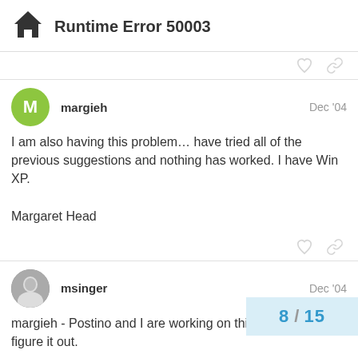Runtime Error 50003
I am also having this problem… have tried all of the previous suggestions and nothing has worked. I have Win XP.

Margaret Head
margieh - Postino and I are working on this here when we figure it out.
8 / 15